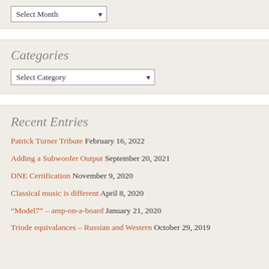[Figure (screenshot): Dropdown selector showing 'Select Month' with a downward chevron arrow]
Categories
[Figure (screenshot): Dropdown selector showing 'Select Category' with a downward chevron arrow]
Recent Entries
Patrick Turner Tribute February 16, 2022
Adding a Subwoofer Output September 20, 2021
DNE Certification November 9, 2020
Classical music is different April 8, 2020
“Model7” – amp-on-a-board January 21, 2020
Triode equivalances – Russian and Western October 29, 2019